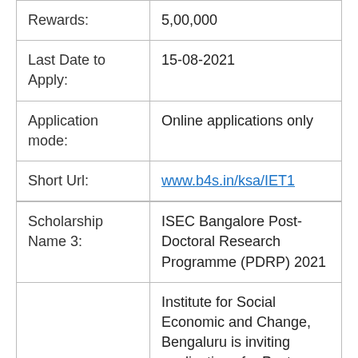| Rewards: | 5,00,000 |
| Last Date to Apply: | 15-08-2021 |
| Application mode: | Online applications only |
| Short Url: | www.b4s.in/ksa/IET1 |
| Scholarship Name 3: | ISEC Bangalore Post-Doctoral Research Programme (PDRP) 2021 |
|  | Institute for Social Economic and Change, Bengaluru is inviting applications for Post |